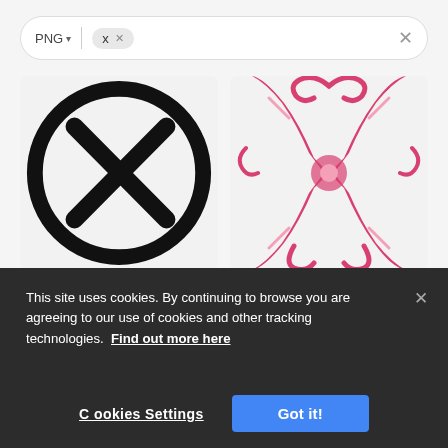[Figure (screenshot): Search bar with PNG format selector and X chip filter, and close button]
[Figure (illustration): Left image cell: black circle with X mark icon on light gray background; Right image cell: ornate decorative pink/red letter X on light gray background]
This site uses cookies. By continuing to browse you are agreeing to our use of cookies and other tracking technologies. Find out more here
Cookies Settings
Got it!